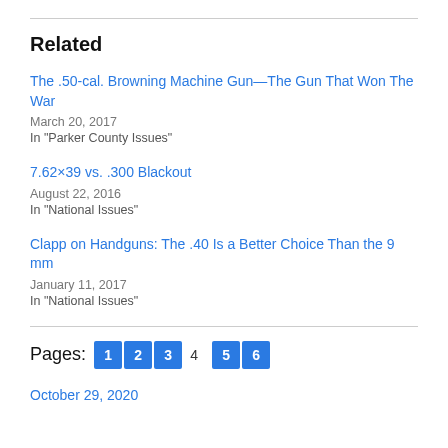Related
The .50-cal. Browning Machine Gun—The Gun That Won The War
March 20, 2017
In "Parker County Issues"
7.62×39 vs. .300 Blackout
August 22, 2016
In "National Issues"
Clapp on Handguns: The .40 Is a Better Choice Than the 9 mm
January 11, 2017
In "National Issues"
Pages: 1 2 3 4  5 6
October 29, 2020